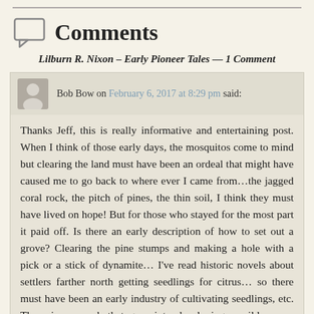Comments
Lilburn R. Nixon – Early Pioneer Tales — 1 Comment
Bob Bow on February 6, 2017 at 8:29 pm said:
Thanks Jeff, this is really informative and entertaining post. When I think of those early days, the mosquitos come to mind but clearing the land must have been an ordeal that might have caused me to go back to where ever I came from…the jagged coral rock, the pitch of pines, the thin soil, I think they must have lived on hope! But for those who stayed for the most part it paid off. Is there an early description of how to set out a grove? Clearing the pine stumps and making a hole with a pick or a stick of dynamite… I've read historic novels about settlers farther north getting seedlings for citrus… so there must have been an early industry of cultivating seedlings, etc. There is so much that goes into developing a wild area… seems daunting to me today, are we made of the same stuff as those early